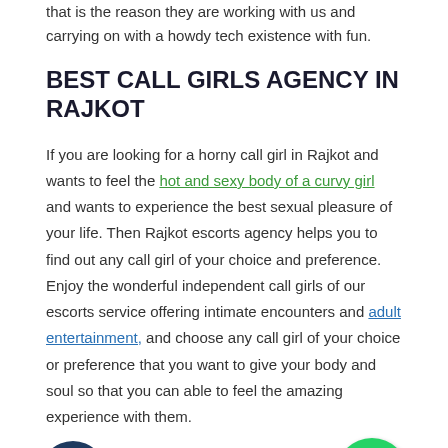that is the reason they are working with us and carrying on with a howdy tech existence with fun.
BEST CALL GIRLS AGENCY IN RAJKOT
If you are looking for a horny call girl in Rajkot and wants to feel the hot and sexy body of a curvy girl and wants to experience the best sexual pleasure of your life. Then Rajkot escorts agency helps you to find out any call girl of your choice and preference. Enjoy the wonderful independent call girls of our escorts service offering intimate encounters and adult entertainment, and choose any call girl of your choice or preference that you want to give your body and soul so that you can able to feel the amazing experience with them.
[Figure (illustration): Phone call icon - circular dark blue button with phone/call waves symbol]
[Figure (illustration): WhatsApp icon - circular green button with white phone handset symbol]
Rajkot escorts offer the best sexual pleasure at a